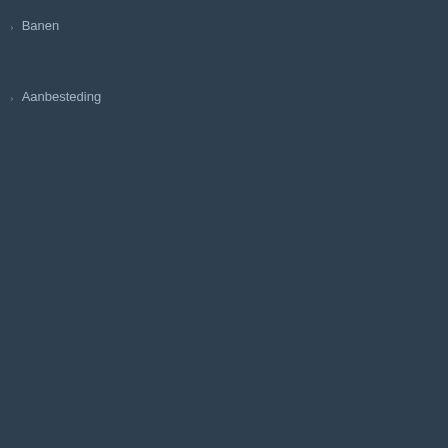Banen
Aanbesteding
Identificatie van zeer zorgwekkende stoffen
Ontwerpaanbeveling voor opname in de autorisatielijst en raadpleging
Autorisatieaanvragen
In overweging gegeven beperkingen
Oproepen tot het indienen van opmerkingen en bewijsmateriaal
Testvoorstellen
Raadplegingen over geharmoniseerde indeling en etikettering
Gerichte raadplegingen inzake geharmoniseerde indeling en etikettering
Raadpleging op verzoek van de uitvoerend directeur van ECHA
Raadpleging over potentiële kandidaten voor vervanging
Raadpleging over afwijking van de uitsluitingscriteria